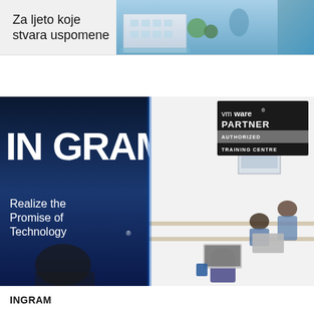[Figure (photo): Advertisement banner: 'Za ljeto koje stvara uspomene' with an image of a building/resort on the right]
CorD
[Figure (photo): Office scene with Ingram Micro banner roll-up displaying 'Realize the Promise of Technology' and a VMware Partner Authorized Training Centre sign, with people working at desks in the background]
INGRAM